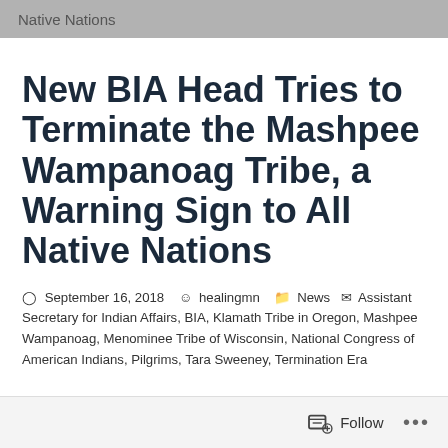Native Nations
New BIA Head Tries to Terminate the Mashpee Wampanoag Tribe, a Warning Sign to All Native Nations
September 16, 2018   healingmn   News   Assistant Secretary for Indian Affairs, BIA, Klamath Tribe in Oregon, Mashpee Wampanoag, Menominee Tribe of Wisconsin, National Congress of American Indians, Pilgrims, Tara Sweeney, Termination Era
Follow